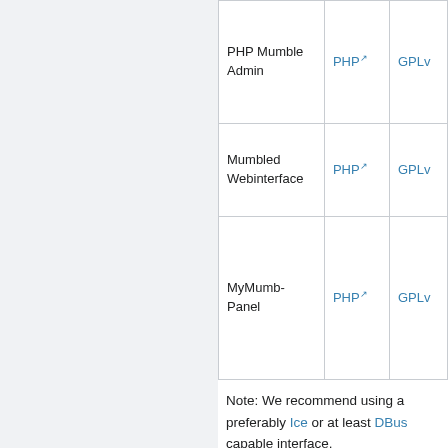| Name | Language | License |
| --- | --- | --- |
| PHP Mumble Admin | PHP ↗ | GPLv… |
| Mumbled Webinterface | PHP ↗ | GPLv… |
| MyMumb-Panel | PHP ↗ | GPLv… |
Note: We recommend using a preferably Ice or at least DBus capable interface.